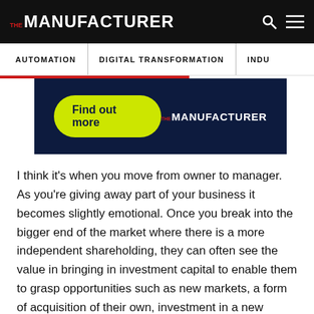THE MANUFACTURER
AUTOMATION | DIGITAL TRANSFORMATION | INDU…
[Figure (other): Advertisement banner with green 'Find out more' button and THE MANUFACTURER logo on dark navy background]
I think it's when you move from owner to manager. As you're giving away part of your business it becomes slightly emotional. Once you break into the bigger end of the market where there is a more independent shareholding, they can often see the value in bringing in investment capital to enable them to grasp opportunities such as new markets, a form of acquisition of their own, investment in a new factory etc. We've had some very nice stories where taking private equity was the shot in the arm that the business needed